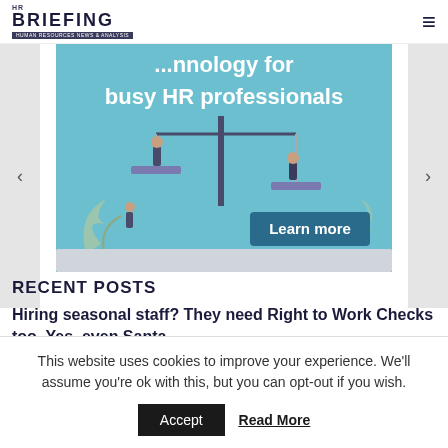HR BRIEFING | HUMAN RESOURCES NEWS & ANALYSIS
[Figure (illustration): HR Briefing banner advertisement for busy HR professionals. Shows a balancing scale illustration with figures on the pans, and a 'Learn more' button. Text reads 'busy HR professionals'.]
RECENT POSTS
Hiring seasonal staff? They need Right to Work Checks too. Yes, even Santa
This website uses cookies to improve your experience. We'll assume you're ok with this, but you can opt-out if you wish.
Accept  Read More